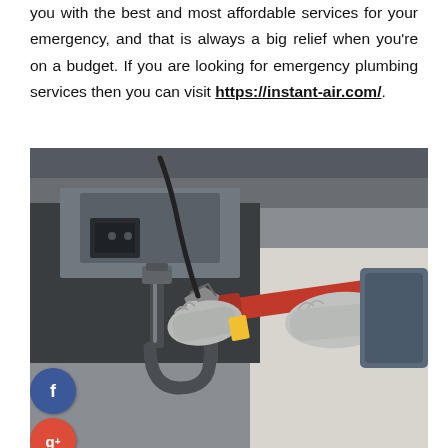you with the best and most affordable services for your emergency, and that is always a big relief when you're on a budget. If you are looking for emergency plumbing services then you can visit https://instant-air.com/.
[Figure (photo): A plumber wearing grey work gloves using a red pipe wrench on metal under-sink plumbing pipes (P-trap), working underneath a sink or fixture.]